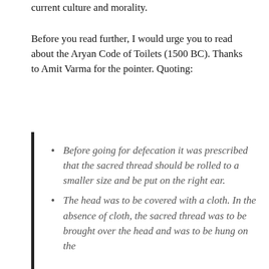current culture and morality.
Before you read further, I would urge you to read about the Aryan Code of Toilets (1500 BC). Thanks to Amit Varma for the pointer. Quoting:
Before going for defecation it was prescribed that the sacred thread should be rolled to a smaller size and be put on the right ear.
The head was to be covered with a cloth. In the absence of cloth, the sacred thread was to be brought over the head and was to be hung on the left ear.